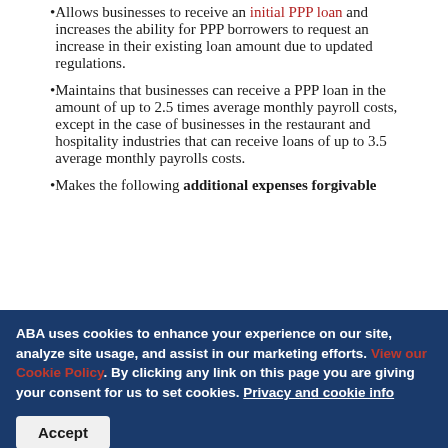Allows businesses to receive an initial PPP loan and increases the ability for PPP borrowers to request an increase in their existing loan amount due to updated regulations.
Maintains that businesses can receive a PPP loan in the amount of up to 2.5 times average monthly payroll costs, except in the case of businesses in the restaurant and hospitality industries that can receive loans of up to 3.5 average monthly payrolls costs.
Makes the following additional expenses forgivable
ABA uses cookies to enhance your experience on our site, analyze site usage, and assist in our marketing efforts. View our Cookie Policy. By clicking any link on this page you are giving your consent for us to set cookies. Privacy and cookie info